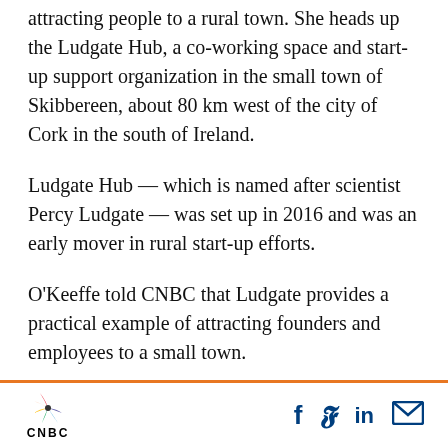attracting people to a rural town. She heads up the Ludgate Hub, a co-working space and start-up support organization in the small town of Skibbereen, about 80 km west of the city of Cork in the south of Ireland.
Ludgate Hub — which is named after scientist Percy Ludgate — was set up in 2016 and was an early mover in rural start-up efforts.
O'Keeffe told CNBC that Ludgate provides a practical example of attracting founders and employees to a small town.
It operates out of an old bakery and is opening a
CNBC | social icons: Facebook, Twitter, LinkedIn, Email